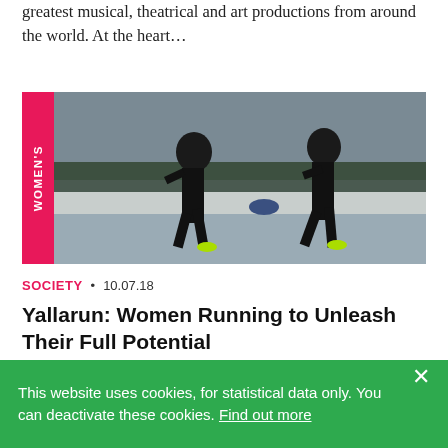greatest musical, theatrical and art productions from around the world. At the heart…
[Figure (photo): Two women running outdoors in dark athletic clothing, with a pink vertical 'WOMEN'S' label on the left side of the image]
SOCIETY • 10.07.18
Yallarun: Women Running to Unleash Their Full Potential
In Saudi Arabia, the Jeddah Running Collective, founded in 2013, works to unleash women through the practice of group running. This initiative, open to…
This website uses cookies, for statistical data only. You can deactivate these cookies. Find out more